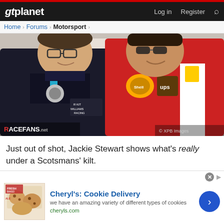gtplanet — Log in  Register
Home > Forums > Motorsport >
[Figure (photo): Two young Formula 1 drivers smiling and laughing at a race event. Left driver wears a ROKiT Williams Racing black shirt with Mercedes logo; right driver wears a red Ferrari polo shirt with Shell and UPS logos. RaceFans.net watermark at bottom left, XPB Images at bottom right.]
Just out of shot, Jackie Stewart shows what's really under a Scotsmans' kilt.
[Figure (infographic): Advertisement for Cheryl's Cookie Delivery showing cookies image on left, title 'Cheryl's: Cookie Delivery', description 'we have an amazing variety of different types of cookies', website cheryls.com, and a blue circular arrow button on right.]